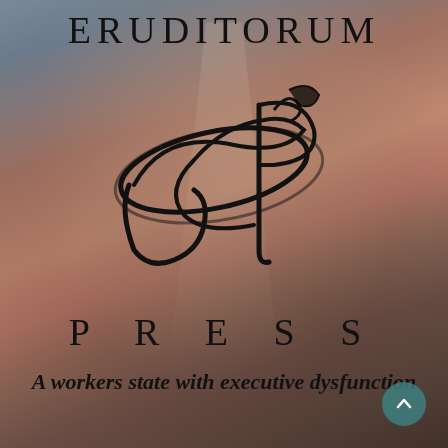ERUDITORUM
[Figure (logo): Eruditorum Press stylized EP logo in black calligraphic script]
PRESS
A workers state with executive dysfunction